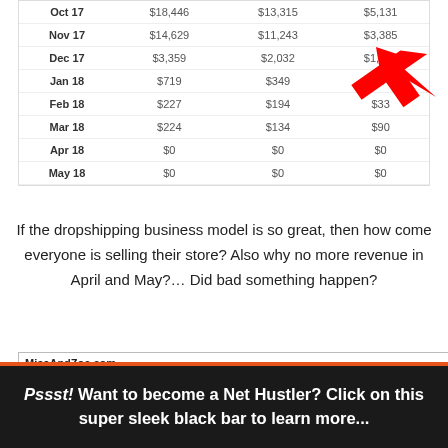|  |  |  |  |
| --- | --- | --- | --- |
| Oct 17 | $18,446 | $13,315 | $5,131 |
| Nov 17 | $14,629 | $11,243 | $3,385 |
| Dec 17 | $3,359 | $2,032 | $1,327 |
| Jan 18 | $719 | $349 | $370 |
| Feb 18 | $227 | $194 | $33 |
| Mar 18 | $224 | $134 | $90 |
| Apr 18 | $0 | $0 | $0 |
| May 18 | $0 | $0 | $0 |
If the dropshipping business model is so great, then how come everyone is selling their store? Also why no more revenue in April and May?… Did bad something happen?
[Figure (screenshot): Screenshot of MissAndZoe.com listing page showing tabs: Traffic, Financials, Seller's Notes, Attachments, Site Info, Comments (10), with axis labels Dec 17, Jan 18, Feb 18, Mar 18, Apr 18, May 18]
Pssst! Want to become a Net Hustler? Click on this super sleek black bar to learn more...